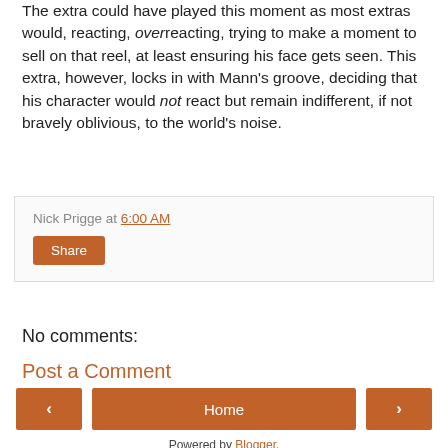The extra could have played this moment as most extras would, reacting, overreacting, trying to make a moment to sell on that reel, at least ensuring his face gets seen. This extra, however, locks in with Mann's groove, deciding that his character would not react but remain indifferent, if not bravely oblivious, to the world's noise.
Nick Prigge at 6:00 AM
Share
No comments:
Post a Comment
‹
Home
›
View web version
Powered by Blogger.